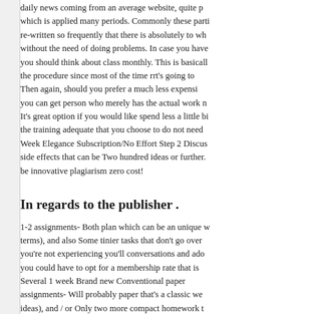daily news coming from an average website, quite p which is applied many periods. Commonly these parti re-written so frequently that there is absolutely to wh without the need of doing problems. In case you have you should think about class monthly. This is basicall the procedure since most of the time rrt's going to Then again, should you prefer a much less expensi you can get person who merely has the actual work n It's great option if you would like spend less a little bi the training adequate that you choose to do not need Week Elegance Subscription/No Effort Step 2 Discus side effects that can be Two hundred ideas or further. be innovative plagiarism zero cost!
In regards to the publisher .
1-2 assignments- Both plan which can be an unique w terms), and also Some tinier tasks that don't go over you're not experiencing you'll conversations and ado you could have to opt for a membership rate that is Several 1 week Brand new Conventional paper assignments- Will probably paper that's a classic we ideas), and / or Only two more compact homework t 1100 thoughts. These kind of monthly subscriptions a few days study course however, you may also have Assassin has an 8 7 days path monthly that has exa